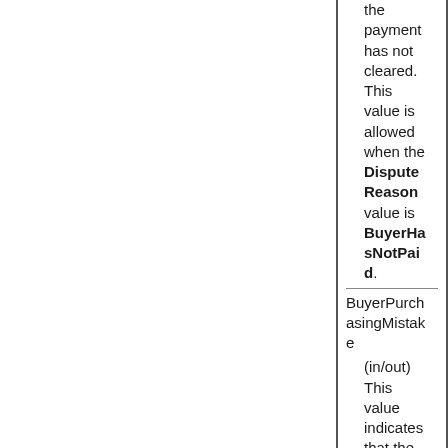the payment has not cleared. This value is allowed when the Dispute Reason value is BuyerHasNotPaid.
BuyerPurchasingMistake
(in/out) This value indicates that the